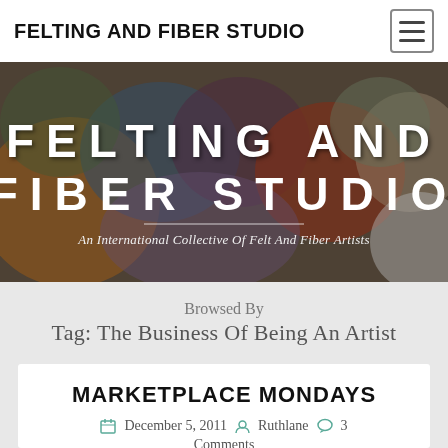FELTING AND FIBER STUDIO
[Figure (photo): Hero banner photo collage of felting and fiber art supplies, wool, felt animals, yarn, and related craft materials with 'FELTING AND FIBER STUDIO' title overlay and subtitle 'An International Collective Of Felt And Fiber Artists']
Browsed By
Tag: The Business Of Being An Artist
MARKETPLACE MONDAYS
December 5, 2011  Ruthlane  3 Comments